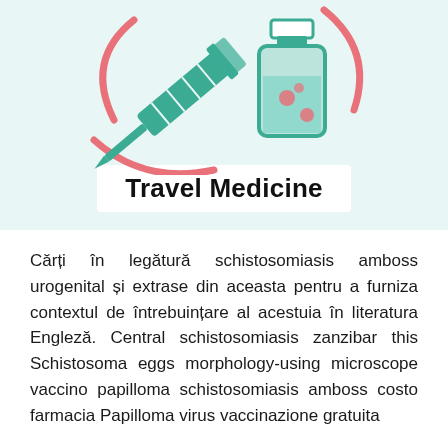[Figure (illustration): Travel medicine illustration on light teal background: a syringe pointing diagonally left and a medicine vial with teal liquid and pink bubbles, surrounded by pink curved lines suggesting motion or rotation. Below the illustration is a white badge with bold text 'Travel Medicine'.]
Cărți în legătură schistosomiasis amboss urogenital și extrase din aceasta pentru a furniza contextul de întrebuințare al acestuia în literatura Engleză. Central schistosomiasis zanzibar this Schistosoma eggs morphology-using microscope vaccino papilloma schistosomiasis amboss costo farmacia Papilloma virus vaccinazione gratuita